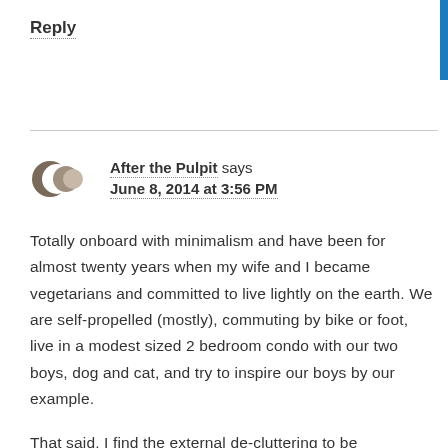Reply
After the Pulpit says
June 8, 2014 at 3:56 PM
Totally onboard with minimalism and have been for almost twenty years when my wife and I became vegetarians and committed to live lightly on the earth. We are self-propelled (mostly), commuting by bike or foot, live in a modest sized 2 bedroom condo with our two boys, dog and cat, and try to inspire our boys by our example.
That said, I find the external de-cluttering to be